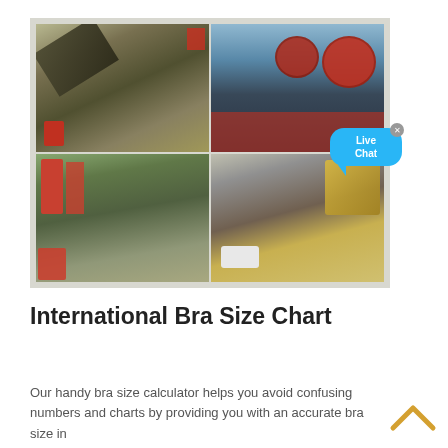[Figure (photo): Four-panel collage of industrial mining/crushing plant machinery and construction sites. Top-left: conveyor belt and crusher equipment outdoors. Top-right: large red industrial wheels/drums on elevated steel structure. Bottom-left: red crusher machine with steel framework under construction. Bottom-right: large yellow crushing machine with white van nearby. A 'Live Chat' speech bubble overlays the top-right area.]
International Bra Size Chart
Our handy bra size calculator helps you avoid confusing numbers and charts by providing you with an accurate bra size in